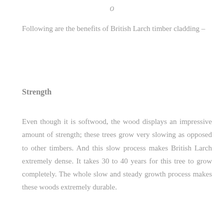o
Following are the benefits of British Larch timber cladding –
Strength
Even though it is softwood, the wood displays an impressive amount of strength; these trees grow very slowing as opposed to other timbers. And this slow process makes British Larch extremely dense. It takes 30 to 40 years for this tree to grow completely. The whole slow and steady growth process makes these woods extremely durable.